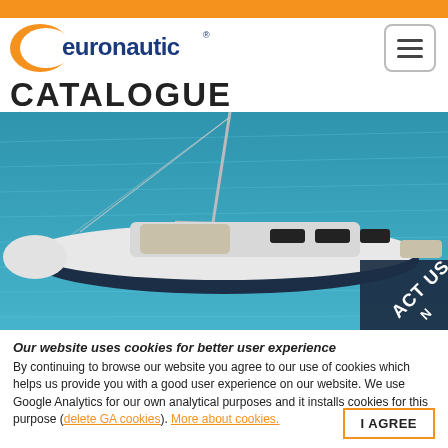[Figure (logo): Euronautic logo with orange swoosh and blue text, with CATALOGUE heading below]
[Figure (photo): Aerial view of a sailing yacht on turquoise water, white hull with dark blue cabin]
Our website uses cookies for better user experience
By continuing to browse our website you agree to our use of cookies which helps us provide you with a good user experience on our website. We use Google Analytics for our own analytical purposes and it installs cookies for this purpose (delete GA cookies). More about cookies.
I AGREE